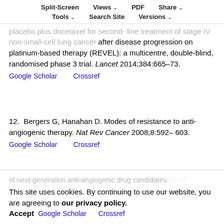Split-Screen  Views  PDF  Share  Tools  Search Site  Versions
11. Garon EB, Ciuleanu TE, Arrieta O, Prabhash K, Syrigos KN, Goksel T, et al Ramucirumab plus docetaxel versus placebo plus docetaxel for second-line treatment of stage IV non-small-cell lung cancer after disease progression on platinum-based therapy (REVEL): a multicentre, double-blind, randomised phase 3 trial. Lancet 2014;384:665–73. Google Scholar  Crossref
12. Bergers G, Hanahan D. Modes of resistance to anti-angiogenic therapy. Nat Rev Cancer 2008;8:592–603. Google Scholar  Crossref
13. Loges S, Schmidt T, Carmeliet P. Mechanisms of resistance to anti-angiogenic therapy and development of next-generation anti-angiogenic drug candidates. Google Scholar  Crossref
This site uses cookies. By continuing to use our website, you are agreeing to our privacy policy. Accept